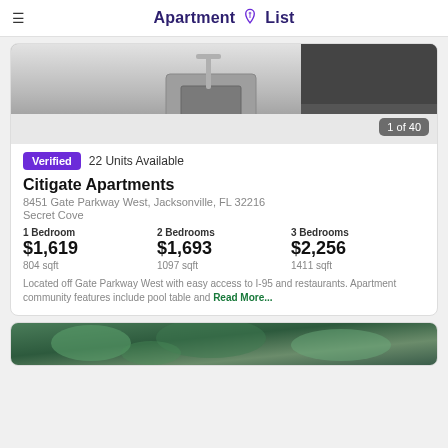Apartment List
[Figure (photo): Kitchen photo showing a stainless steel sink and faucet on a white countertop with dark cabinetry in background. Counter label '1 of 40'.]
Verified  22 Units Available
Citigate Apartments
8451 Gate Parkway West, Jacksonville, FL 32216
Secret Cove
1 Bedroom $1,619 804 sqft | 2 Bedrooms $1,693 1097 sqft | 3 Bedrooms $2,256 1411 sqft
Located off Gate Parkway West with easy access to I-95 and restaurants. Apartment community features include pool table and Read More...
[Figure (photo): Partial view of a second apartment listing photo showing outdoor greenery/tropical landscape.]